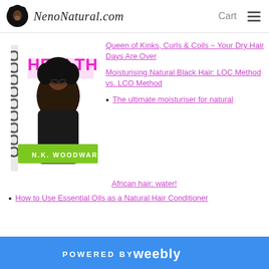NenoNatural.com  Cart
[Figure (illustration): Book cover with spiral binding, pink HEALTHY text, woman with natural curly hair and glasses wearing black, green banner with 'N.K. WOODWARD']
Queen of Kinks, Curls & Coils ~ Your Dry Hair Days Are Over
Moisturising Natural Black Hair: LOC Method vs. LCO Method
The ultimate moisturiser for natural African hair: water!
How to Use Essential Oils as a Natural Hair Conditioner
POWERED BY weebly